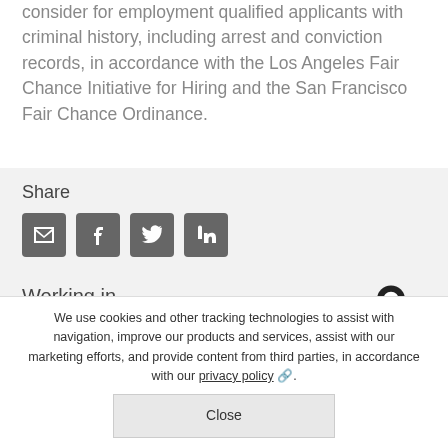consider for employment qualified applicants with criminal history, including arrest and conviction records, in accordance with the Los Angeles Fair Chance Initiative for Hiring and the San Francisco Fair Chance Ordinance.
Share
[Figure (infographic): Four social sharing icon buttons: email (envelope), Facebook (f), Twitter (bird), LinkedIn (in)]
Working in Sag Harbor
[Figure (illustration): Location pin / map marker icon]
We use cookies and other tracking technologies to assist with navigation, improve our products and services, assist with our marketing efforts, and provide content from third parties, in accordance with our privacy policy.
Close